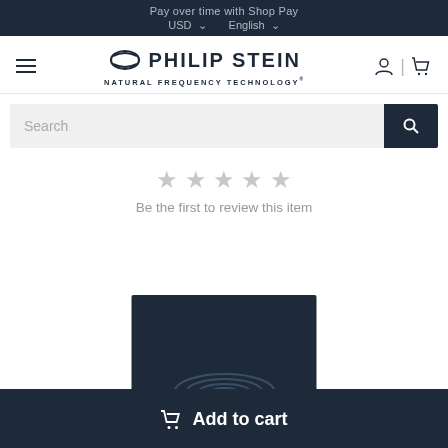Pay over time with Shop Pay
USD  English
[Figure (logo): Philip Stein logo with swoosh icon and tagline NATURAL FREQUENCY TECHNOLOGY]
Search
Be the first to review this item
[Figure (photo): Product image on dark navy background showing circular waveform pattern]
Add to cart